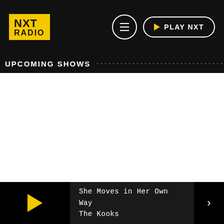[Figure (logo): NXT Radio logo — yellow rectangle with black text NXT RADIO]
NXT RADIO — Menu button and PLAY NXT button
UPCOMING SHOWS
She Moves in Her Own Way
The Kooks